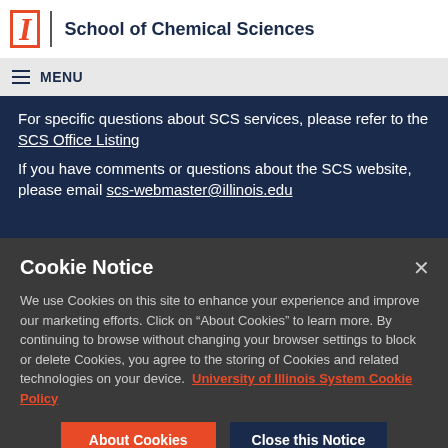School of Chemical Sciences
For specific questions about SCS services, please refer to the SCS Office Listing
If you have comments or questions about the SCS website, please email scs-webmaster@illinois.edu
Cookie Notice
We use Cookies on this site to enhance your experience and improve our marketing efforts. Click on “About Cookies” to learn more. By continuing to browse without changing your browser settings to block or delete Cookies, you agree to the storing of Cookies and related technologies on your device. University of Illinois System Cookie Policy